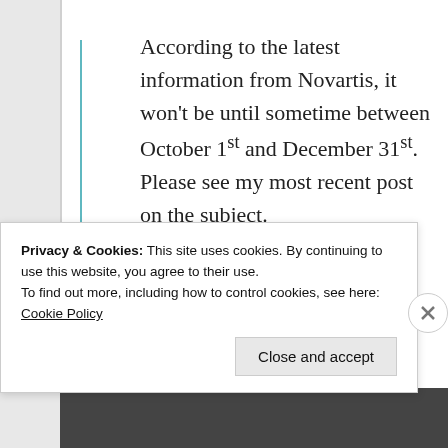According to the latest information from Novartis, it won't be until sometime between October 1st and December 31st. Please see my most recent post on the subject.
★ Like
↳ Reply
Privacy & Cookies: This site uses cookies. By continuing to use this website, you agree to their use. To find out more, including how to control cookies, see here: Cookie Policy
Close and accept